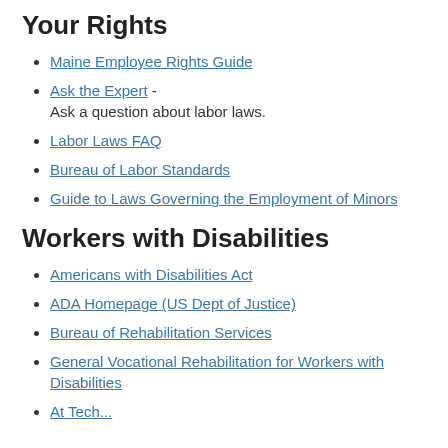Your Rights
Maine Employee Rights Guide
Ask the Expert - Ask a question about labor laws.
Labor Laws FAQ
Bureau of Labor Standards
Guide to Laws Governing the Employment of Minors
Workers with Disabilities
Americans with Disabilities Act
ADA Homepage (US Dept of Justice)
Bureau of Rehabilitation Services
General Vocational Rehabilitation for Workers with Disabilities
At Tech...